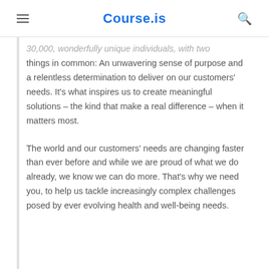Course.is
30,000, wonderfully unique individuals, with two things in common: An unwavering sense of purpose and a relentless determination to deliver on our customers' needs. It's what inspires us to create meaningful solutions – the kind that make a real difference – when it matters most.
The world and our customers' needs are changing faster than ever before and while we are proud of what we do already, we know we can do more. That's why we need you, to help us tackle increasingly complex challenges posed by ever evolving health and well-being needs.